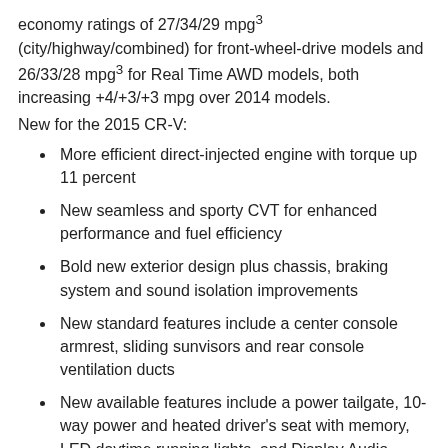economy ratings of 27/34/29 mpg³ (city/highway/combined) for front-wheel-drive models and 26/33/28 mpg³ for Real Time AWD models, both increasing +4/+3/+3 mpg over 2014 models.
New for the 2015 CR-V:
More efficient direct-injected engine with torque up 11 percent
New seamless and sporty CVT for enhanced performance and fuel efficiency
Bold new exterior design plus chassis, braking system and sound isolation improvements
New standard features include a center console armrest, sliding sunvisors and rear console ventilation ducts
New available features include a power tailgate, 10-way power and heated driver's seat with memory, LED daytime running lights, and Display Audio
Available Honda Sensing™ suite of advanced